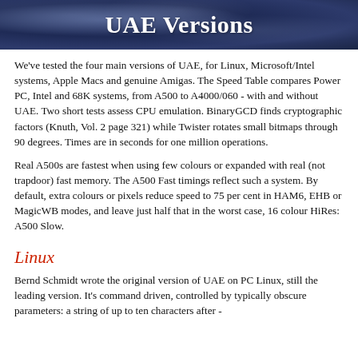UAE Versions
We've tested the four main versions of UAE, for Linux, Microsoft/Intel systems, Apple Macs and genuine Amigas. The Speed Table compares Power PC, Intel and 68K systems, from A500 to A4000/060 - with and without UAE. Two short tests assess CPU emulation. BinaryGCD finds cryptographic factors (Knuth, Vol. 2 page 321) while Twister rotates small bitmaps through 90 degrees. Times are in seconds for one million operations.
Real A500s are fastest when using few colours or expanded with real (not trapdoor) fast memory. The A500 Fast timings reflect such a system. By default, extra colours or pixels reduce speed to 75 per cent in HAM6, EHB or MagicWB modes, and leave just half that in the worst case, 16 colour HiRes: A500 Slow.
Linux
Bernd Schmidt wrote the original version of UAE on PC Linux, still the leading version. It's command driven, controlled by typically obscure parameters: a string of up to ten characters after -